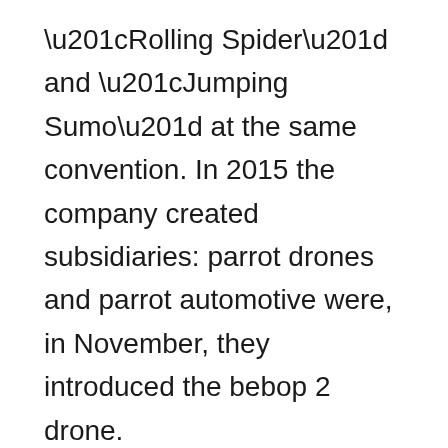“Rolling Spider” and “Jumping Sumo” at the same convention. In 2015 the company created subsidiaries: parrot drones and parrot automotive were, in November, they introduced the bebop 2 drone.
These days the company focuses on parrot Anafi (which has thermal and FP for the versions of the drone) and is a competitor to the entry-level consumer drones that DJI make. The drones have an incredible amount of features for a good price range and include many of the